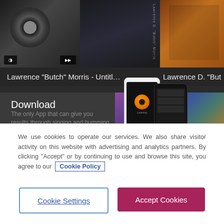[Figure (screenshot): SoundHound website screenshot showing two album cards: 'Lawrence "Butch" Morris - Untitl...' and 'Lawrence D. "Butch" M', with a 'Download SoundHound' promotional banner below featuring phone mockups]
We use cookies to operate our services. We also share visitor activity on this website with advertising and analytics partners. By clicking “Accept” or by continuing to use and browse this site, you agree to our Cookie Policy
Cookie Settings
Accept Cookies